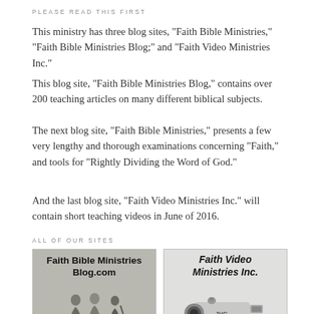PLEASE READ THIS FIRST
This ministry has three blog sites, "Faith Bible Ministries," "Faith Bible Ministries Blog;" and "Faith Video Ministries Inc."
This blog site, "Faith Bible Ministries Blog," contains over 200 teaching articles on many different biblical subjects.
The next blog site, "Faith Bible Ministries," presents a few very lengthy and thorough examinations concerning "Faith," and tools for "Rightly Dividing the Word of God."
And the last blog site, “Faith Video Ministries Inc.” will contain short teaching videos in June of 2016.
ALL OF OUR SITES
[Figure (illustration): Banner image for Faith Bible Ministries Blog.com showing the site title in bold text over a grayscale background with figures of people]
[Figure (illustration): Banner image for Faith Video Ministries Inc. showing the site title in bold italic text over a grayscale background with a JVC video camera]